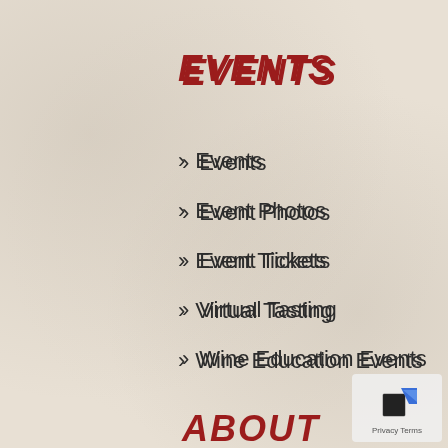EVENTS
Events
Event Photos
Event Tickets
Virtual Tasting
Wine Education Events
ABOUT
Blog
Vineyards